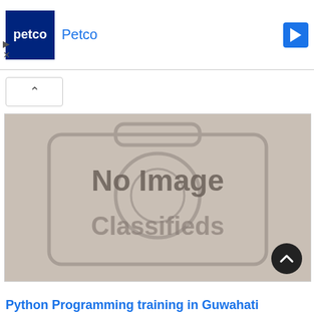[Figure (screenshot): Petco advertisement banner with blue logo on left, 'Petco' title in blue, and blue arrow navigation icon on right]
[Figure (photo): No Image Classifieds placeholder — grey background with camera icon outline and text 'No Image Classifieds']
Python Programming training in Guwahati